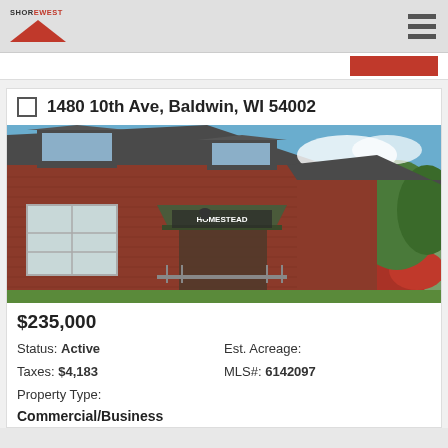Shorewest
1480 10th Ave, Baldwin, WI 54002
[Figure (photo): Exterior photo of a brick commercial building with a covered entrance labeled 'Homestead', dormer windows, gray roof, and red flowering shrubs in front.]
$235,000
Status: Active
Est. Acreage:
Taxes: $4,183
MLS#: 6142097
Property Type:
Commercial/Business